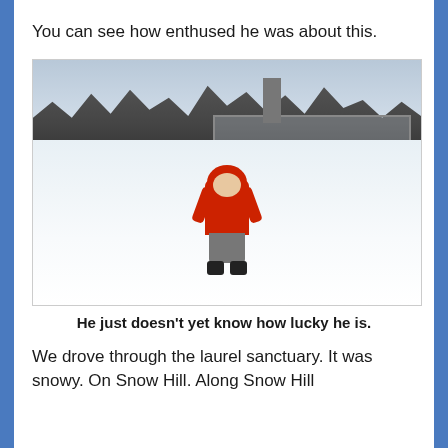You can see how enthused he was about this.
[Figure (photo): A young child in a red hooded jacket, grey pants, and black boots standing in a snowy field. Behind him are bare winter trees, a metal fence, and a communication tower under an overcast grey sky.]
He just doesn't yet know how lucky he is.
We drove through the laurel sanctuary. It was snowy. On Snow Hill. Along Snow Hill